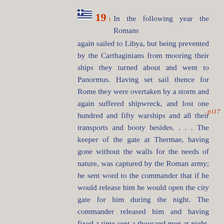19 1 In the following year the Romans again sailed to Libya, but being prevented by the Carthaginians from mooring their ships they turned about and went to Panormus. Having set sail thence for Rome they were overtaken by a storm and again suffered shipwreck, and lost one hundred and fifty warships and all their transports and booty besides. . . . The keeper of the gate at Thermae, having gone without the walls for the needs of nature, was captured by the Roman army; he sent word to the commander that if he would release him he would open the city gate for him during the night. The commander released him and having fixed a time sent a thousand men at night. They arrived and he opened the gate at the appointed time. The leaders, men of note,
p117